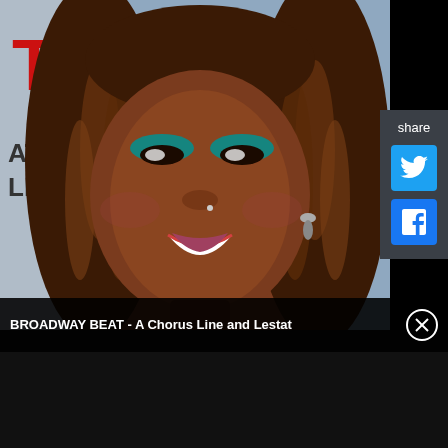[Figure (photo): Smiling Black woman with long braided hair and teal eyeshadow, wearing a drop earring, photographed at what appears to be an event backdrop showing partial text 'ATT' and 'LE CU']
share
BROADWAY BEAT - A Chorus Line and Lestat